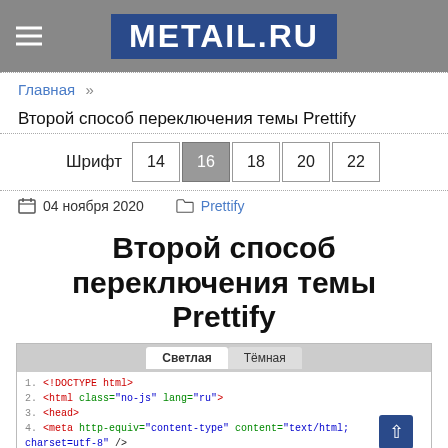METAIL.RU
Главная »
Второй способ переключения темы Prettify
Шрифт 14 16 18 20 22
04 ноября 2020  Prettify
Второй способ переключения темы Prettify
[Figure (screenshot): Code editor screenshot showing Светлая / Тёмная tabs and HTML code lines 1-4]